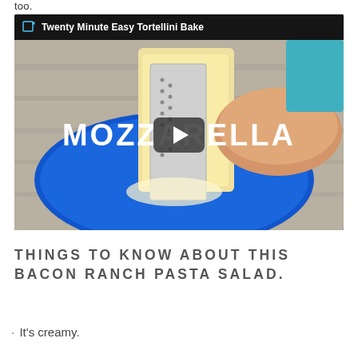too.
[Figure (screenshot): Embedded video player showing a person grating mozzarella cheese on a blue cutting board. The video title bar reads 'Twenty Minute Easy Tortellini Bake'. The word MOZZARELLA appears overlaid on the thumbnail in large white letters, with a play button in the center.]
THINGS TO KNOW ABOUT THIS BACON RANCH PASTA SALAD.
It's creamy.